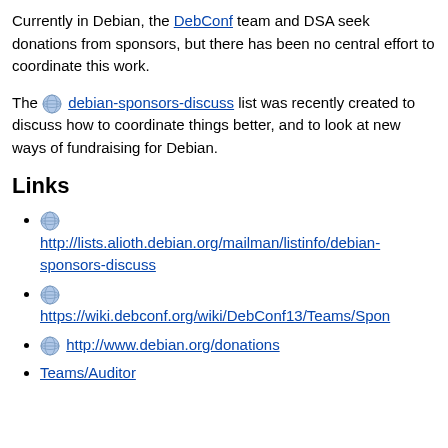Currently in Debian, the DebConf team and DSA seek donations from sponsors, but there has been no central effort to coordinate this work.
The debian-sponsors-discuss list was recently created to discuss how to coordinate things better, and to look at new ways of fundraising for Debian.
Links
http://lists.alioth.debian.org/mailman/listinfo/debian-sponsors-discuss
https://wiki.debconf.org/wiki/DebConf13/Teams/Spon
http://www.debian.org/donations
Teams/Auditor